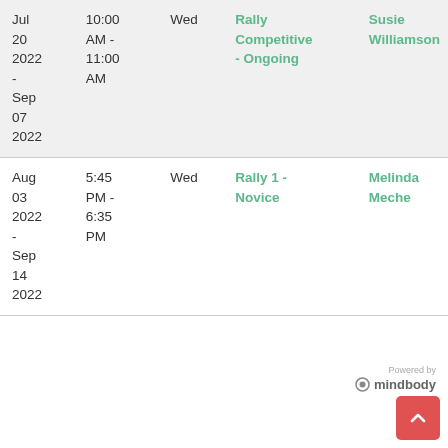| Date | Time | Day | Class | Instructor |
| --- | --- | --- | --- | --- |
| Jul 20 2022 - Sep 07 2022 | 10:00 AM - 11:00 AM | Wed | Rally Competitive - Ongoing | Susie Williamson |
| Aug 03 2022 - Sep 14 2022 | 5:45 PM - 6:35 PM | Wed | Rally 1 - Novice | Melinda Meche |